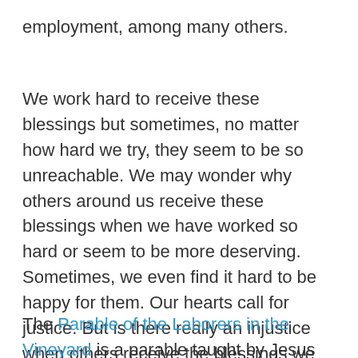employment, among many others.
We work hard to receive these blessings but sometimes, no matter how hard we try, they seem to be so unreachable. We may wonder why others around us receive these blessings when we have worked so hard or seem to be more deserving. Sometimes, we even find it hard to be happy for them. Our hearts call for justice. But is there really an injustice when others receive the blessings we desire? Or when others receive more than we do?
The Parable of the Laborers in the Vineyard is a parable taught by Jesus that addresses this